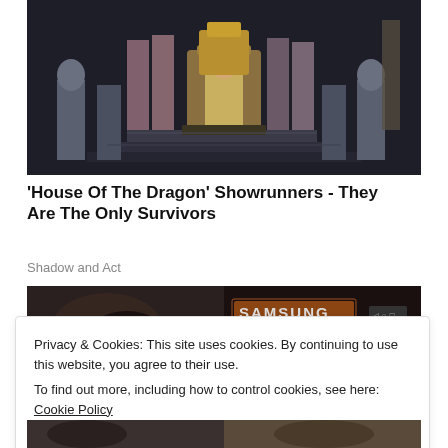[Figure (photo): Scene from House of the Dragon showing characters in royal court setting with a person seated on a golden throne surrounded by armored knights and courtiers in medieval fantasy costumes]
'House Of The Dragon' Showrunners - They Are The Only Survivors
Shadow and Act
[Figure (photo): Two partial images side by side - left shows a dark close-up, right shows Samsung branding text]
Privacy & Cookies: This site uses cookies. By continuing to use this website, you agree to their use.
To find out more, including how to control cookies, see here: Cookie Policy
Close and accept
[Figure (photo): Two partial images at bottom of page]